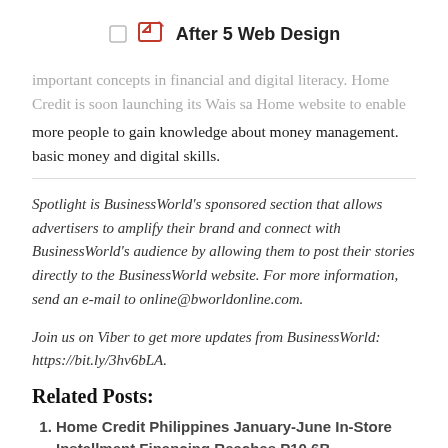After 5 Web Design
important concepts in financial and digital literacy. Home Credit is soon launching its Wais sa Home website to enable more people to gain knowledge about money management. basic money and digital skills.
Spotlight is BusinessWorld's sponsored section that allows advertisers to amplify their brand and connect with BusinessWorld's audience by allowing them to post their stories directly to the BusinessWorld website. For more information, send an e-mail to online@bworldonline.com.
Join us on Viber to get more updates from BusinessWorld: https://bit.ly/3hv6bLA.
Related Posts:
Home Credit Philippines January-June In-Store Installment Financing Reaches P10.6B